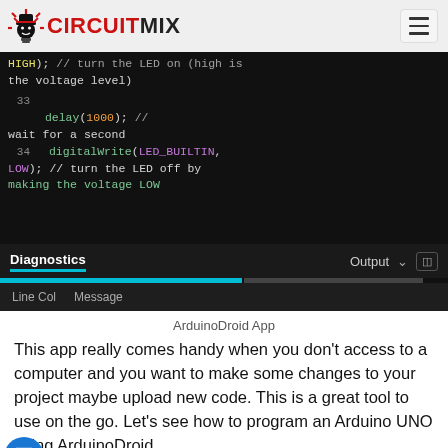CIRCUIT MIX
[Figure (screenshot): Screenshot of ArduinoDroid App showing code editor with lines 33-34 of Arduino code (delay(1000) and digitalWrite(LED_BUILTIN, LOW)), along with Diagnostics and Output tabs and Line/Col/Message bar at the bottom.]
ArduinoDroid App
This app really comes handy when you don't access to a computer and you want to make some changes to your project maybe upload new code. This is a great tool to use on the go. Let's see how to program an Arduino UNO using ArduinoDroid.